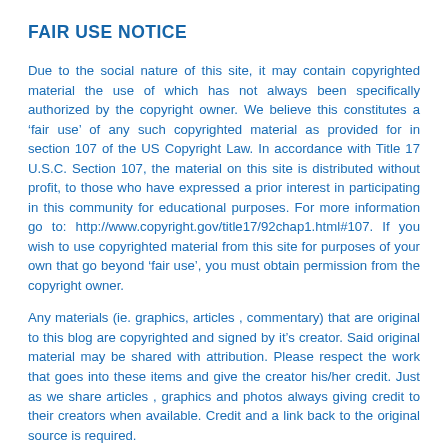FAIR USE NOTICE
Due to the social nature of this site, it may contain copyrighted material the use of which has not always been specifically authorized by the copyright owner. We believe this constitutes a ‘fair use’ of any such copyrighted material as provided for in section 107 of the US Copyright Law. In accordance with Title 17 U.S.C. Section 107, the material on this site is distributed without profit, to those who have expressed a prior interest in participating in this community for educational purposes. For more information go to: http://www.copyright.gov/title17/92chap1.html#107. If you wish to use copyrighted material from this site for purposes of your own that go beyond ‘fair use’, you must obtain permission from the copyright owner.
Any materials (ie. graphics, articles , commentary) that are original to this blog are copyrighted and signed by it’s creator. Said original material may be shared with attribution. Please respect the work that goes into these items and give the creator his/her credit. Just as we share articles , graphics and photos always giving credit to their creators when available. Credit and a link back to the original source is required.
If you have an issue with anything posted here or would prefer we not use it . Please contact CNBNEWS1@GMAIL.COM . Any